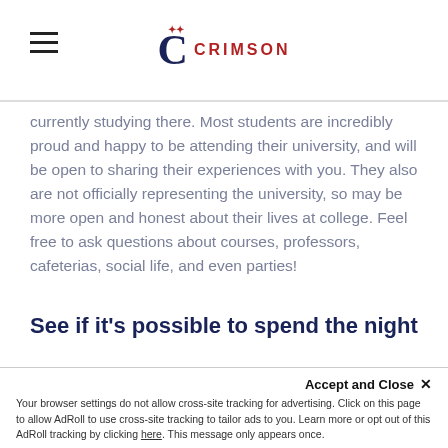CRIMSON
currently studying there. Most students are incredibly proud and happy to be attending their university, and will be open to sharing their experiences with you. They also are not officially representing the university, so may be more open and honest about their lives at college. Feel free to ask questions about courses, professors, cafeterias, social life, and even parties!
See if it’s possible to spend the night
Spending a night on campus is a great way to understand what life is like outside of the classroom. This website uses cookies to ensure you get the best experience on our website. Learn more university, and how students spend their off time. This
Accept and Close ×
Your browser settings do not allow cross-site tracking for advertising. Click on this page to allow AdRoll to use cross-site tracking to tailor ads to you. Learn more or opt out of this AdRoll tracking by clicking here. This message only appears once.